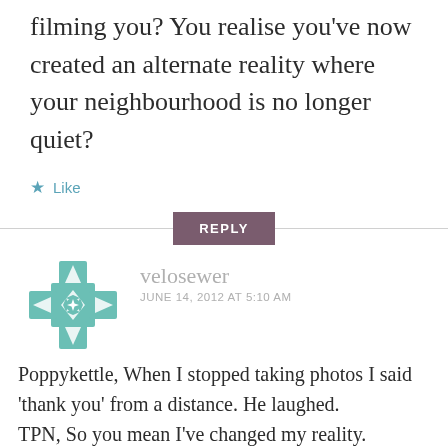filming you? You realise you've now created an alternate reality where your neighbourhood is no longer quiet?
★ Like
REPLY
[Figure (logo): Teal geometric quilt/snowflake pattern avatar for user velosewer]
velosewer
JUNE 14, 2012 AT 5:10 AM
Poppykettle, When I stopped taking photos I said 'thank you' from a distance. He laughed.
TPN, So you mean I've changed my reality. Possibly:)